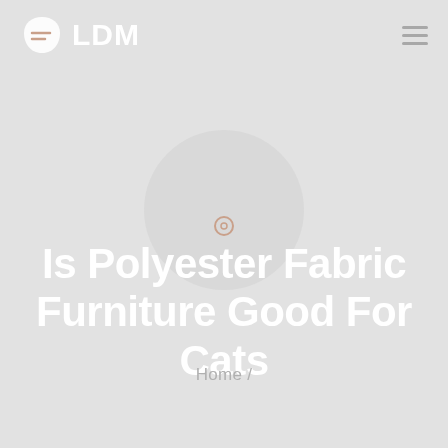LDM
Is Polyester Fabric Furniture Good For Cats
Home /